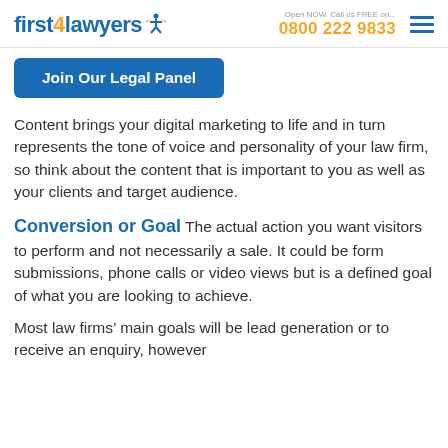first4lawyers | Open NOW. Call us FREE on... 0800 222 9833
Join Our Legal Panel
Content brings your digital marketing to life and in turn represents the tone of voice and personality of your law firm, so think about the content that is important to you as well as your clients and target audience.
Conversion or Goal The actual action you want visitors to perform and not necessarily a sale. It could be form submissions, phone calls or video views but is a defined goal of what you are looking to achieve.
Most law firms' main goals will be lead generation or to receive an enquiry, however